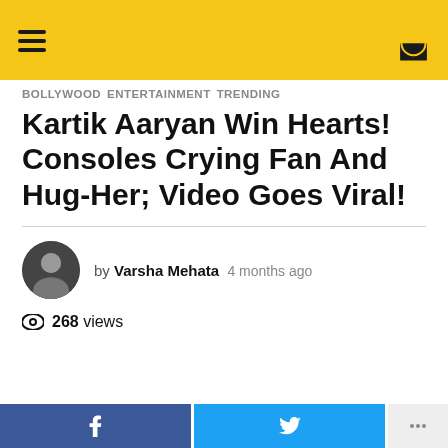Navigation header with hamburger menu and dark mode icon
BOLLYWOOD  ENTERTAINMENT  TRENDING
Kartik Aaryan Win Hearts! Consoles Crying Fan And Hug-Her; Video Goes Viral!
by Varsha Mehata  4 months ago
268 views